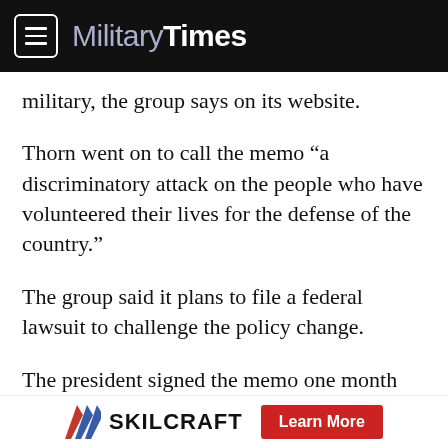Military Times
military, the group says on its website.
Thorn went on to call the memo “a discriminatory attack on the people who have volunteered their lives for the defense of the country.”
The group said it plans to file a federal lawsuit to challenge the policy change.
The president signed the memo one month after announcing in three tweets his plan to change the military’s transgender policy.
[Figure (logo): SKILCRAFT advertisement banner with logo and Learn More button]